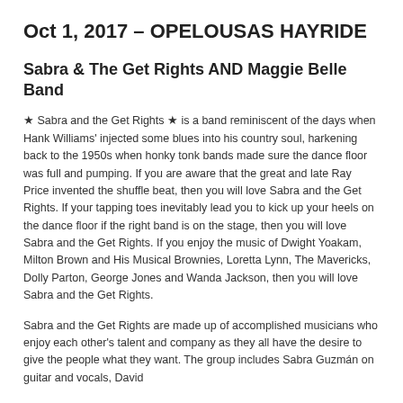Oct 1, 2017 – OPELOUSAS HAYRIDE
Sabra & The Get Rights AND Maggie Belle Band
★ Sabra and the Get Rights ★ is a band reminiscent of the days when Hank Williams' injected some blues into his country soul, harkening back to the 1950s when honky tonk bands made sure the dance floor was full and pumping. If you are aware that the great and late Ray Price invented the shuffle beat, then you will love Sabra and the Get Rights. If your tapping toes inevitably lead you to kick up your heels on the dance floor if the right band is on the stage, then you will love Sabra and the Get Rights. If you enjoy the music of Dwight Yoakam, Milton Brown and His Musical Brownies, Loretta Lynn, The Mavericks, Dolly Parton, George Jones and Wanda Jackson, then you will love Sabra and the Get Rights.
Sabra and the Get Rights are made up of accomplished musicians who enjoy each other's talent and company as they all have the desire to give the people what they want. The group includes Sabra Guzmán on guitar and vocals, David…